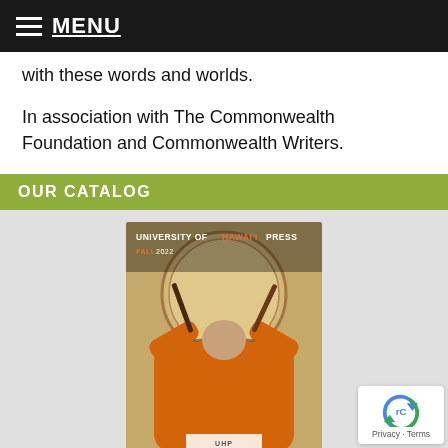MENU
with these words and worlds.
In association with The Commonwealth Foundation and Commonwealth Writers.
OUR CATALOG
[Figure (photo): University of Hawaiʻi Press Fall 2022 catalog cover showing a person in orange robes playing a large drum from behind.]